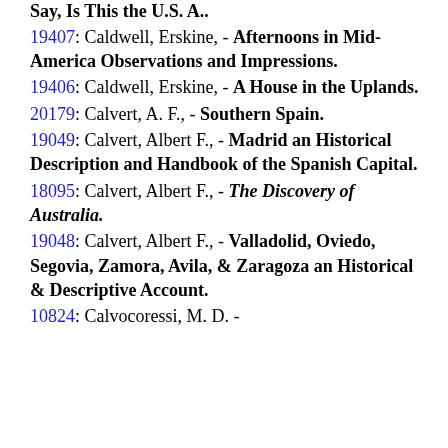Noble, - Satin Skirts of Commerce.
14252: Caldwell, Erskine; Bourke-White, Margaret, - Say, Is This the U.S. A..
19407: Caldwell, Erskine, - Afternoons in Mid-America Observations and Impressions.
19406: Caldwell, Erskine, - A House in the Uplands.
20179: Calvert, A. F., - Southern Spain.
19049: Calvert, Albert F., - Madrid an Historical Description and Handbook of the Spanish Capital.
18095: Calvert, Albert F., - The Discovery of Australia.
19048: Calvert, Albert F., - Valladolid, Oviedo, Segovia, Zamora, Avila, & Zaragoza an Historical & Descriptive Account.
10824: Calvocoressi, M. D. -